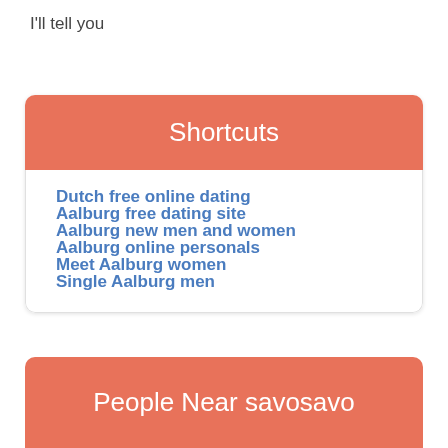I'll tell you
Shortcuts
Dutch free online dating
Aalburg free dating site
Aalburg new men and women
Aalburg online personals
Meet Aalburg women
Single Aalburg men
People Near savosavo